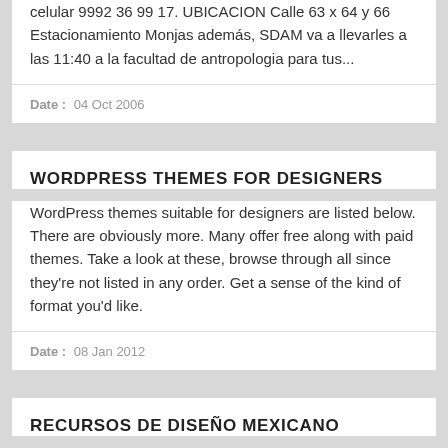celular 9992 36 99 17. UBICACION Calle 63 x 64 y 66 Estacionamiento Monjas además, SDAM va a llevarles a las 11:40 a la facultad de antropologia para tus...
Date: 04 Oct 2006
WORDPRESS THEMES FOR DESIGNERS
WordPress themes suitable for designers are listed below. There are obviously more. Many offer free along with paid themes. Take a look at these, browse through all since they're not listed in any order. Get a sense of the kind of format you'd like.
Date: 08 Jan 2012
RECURSOS DE DISEÑO MEXICANO
a! diseno encuadre editorial designio letras latinas museo franz...